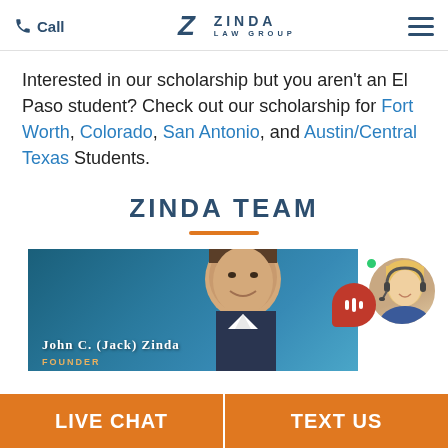Call | ZINDA LAW GROUP
Interested in our scholarship but you aren't an El Paso student? Check out our scholarship for Fort Worth, Colorado, San Antonio, and Austin/Central Texas Students.
ZINDA TEAM
[Figure (photo): Photo of John C. (Jack) Zinda, Founder of Zinda Law Group, against a blue background. A chat widget with a red speech bubble icon and a blonde female agent with headset is overlaid on the right side.]
LIVE CHAT | TEXT US